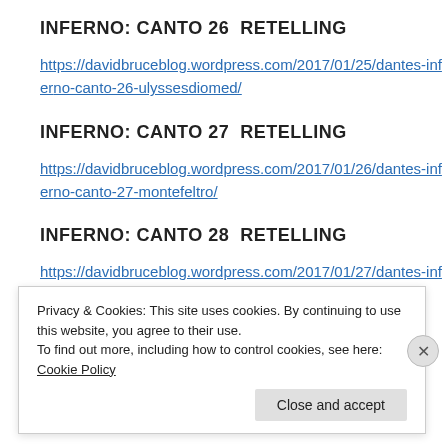INFERNO: CANTO 26  RETELLING
https://davidbruceblog.wordpress.com/2017/01/25/dantes-inferno-canto-26-ulyssesdiomed/
INFERNO: CANTO 27  RETELLING
https://davidbruceblog.wordpress.com/2017/01/26/dantes-inferno-canto-27-montefeltro/
INFERNO: CANTO 28  RETELLING
https://davidbruceblog.wordpress.com/2017/01/27/dantes-inferno-
Privacy & Cookies: This site uses cookies. By continuing to use this website, you agree to their use.
To find out more, including how to control cookies, see here: Cookie Policy
Close and accept